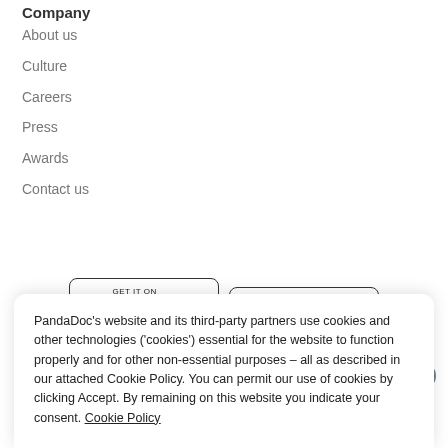Company
About us
Culture
Careers
Press
Awards
Contact us
[Figure (other): Google Play and App Store download buttons]
PandaDoc's website and its third-party partners use cookies and other technologies ('cookies') essential for the website to function properly and for other non-essential purposes – all as described in our attached Cookie Policy. You can permit our use of cookies by clicking Accept. By remaining on this website you indicate your consent. Cookie Policy